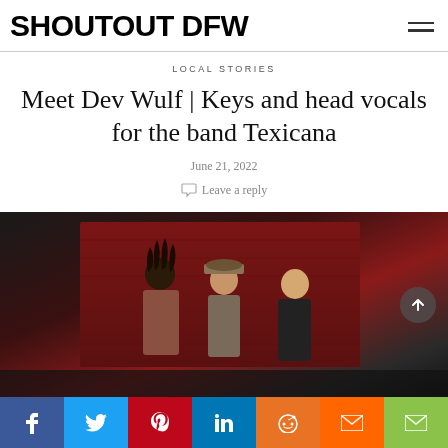SHOUTOUT DFW
LOCAL STORIES
Meet Dev Wulf | Keys and head vocals for the band Texicana
June 21, 2022
Leave a reply
[Figure (photo): Three band members standing in front of a red corrugated metal wall. Left person has dreadlocks, center person wears a hat and glasses, right person is in a black shirt.]
f  t  p  in  reddit  m  email — social share bar